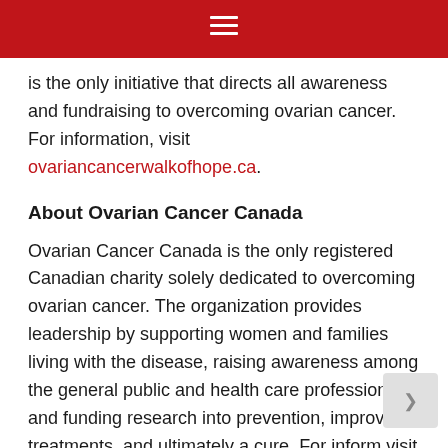is the only initiative that directs all awareness and fundraising to overcoming ovarian cancer. For information, visit ovariancancerwalkofhope.ca.
About Ovarian Cancer Canada
Ovarian Cancer Canada is the only registered Canadian charity solely dedicated to overcoming ovarian cancer. The organization provides leadership by supporting women and families living with the disease, raising awareness among the general public and health care professionals, and funding research into prevention, improved treatments, and ultimately a cure. For inform visit ovariancanada.org.